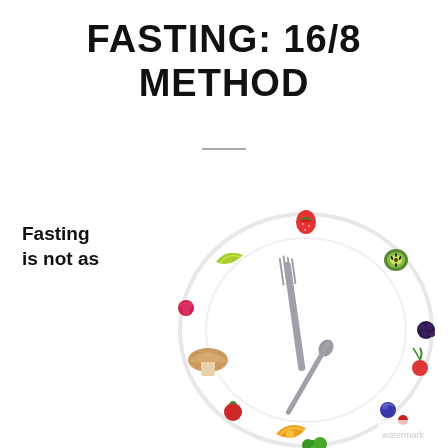FASTING: 16/8 METHOD
Fasting is not as
[Figure (photo): A white dinner plate arranged with a fork and spoon as clock hands, surrounded by various fruits and vegetables (strawberry, kiwi, lime, raspberry, tomato, mushroom, orange slice, broccoli, blueberry, blackberry, radish) positioned like clock numbers, suggesting intermittent fasting timing.]